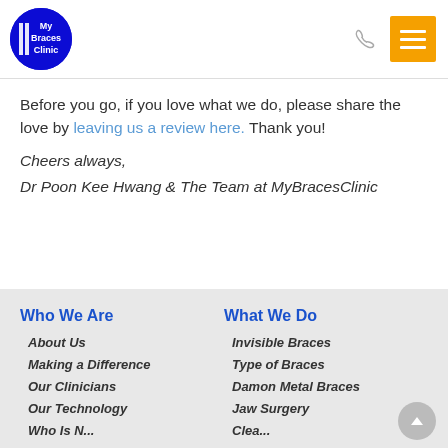[Figure (logo): My Braces Clinic logo — blue circle with white text and vertical bar lines on the left side]
Before you go, if you love what we do, please share the love by leaving us a review here. Thank you!
Cheers always,
Dr Poon Kee Hwang & The Team at MyBracesClinic
Who We Are | About Us | Making a Difference | Our Clinicians | Our Technology | What We Do | Invisible Braces | Type of Braces | Damon Metal Braces | Jaw Surgery